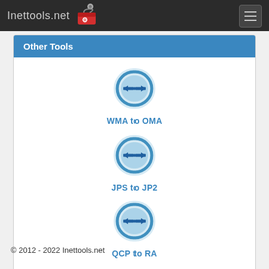Inettools.net
Other Tools
[Figure (logo): Blue circular icon with double horizontal arrows (conversion icon) for WMA to OMA]
WMA to OMA
[Figure (logo): Blue circular icon with double horizontal arrows (conversion icon) for JPS to JP2]
JPS to JP2
[Figure (logo): Blue circular icon with double horizontal arrows (conversion icon) for QCP to RA]
QCP to RA
© 2012 - 2022 Inettools.net